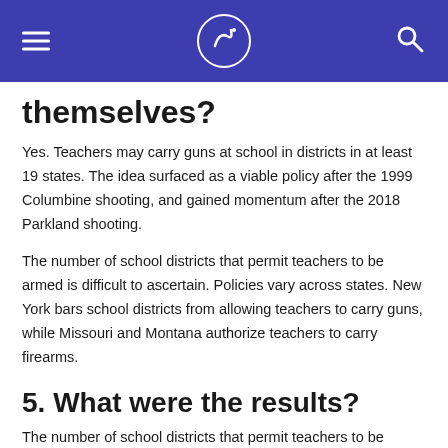[navigation header with logo]
themselves?
Yes. Teachers may carry guns at school in districts in at least 19 states. The idea surfaced as a viable policy after the 1999 Columbine shooting, and gained momentum after the 2018 Parkland shooting.
The number of school districts that permit teachers to be armed is difficult to ascertain. Policies vary across states. New York bars school districts from allowing teachers to carry guns, while Missouri and Montana authorize teachers to carry firearms.
5. What were the results?
The number of school districts that permit teachers to be armed is difficult to...